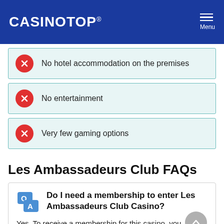CASINOTOP®  Menu
No hotel accommodation on the premises
No entertainment
Very few gaming options
Les Ambassadeurs Club FAQs
Do I need a membership to enter Les Ambassadeurs Club Casino?
Yes. To receive a membership for this casino, you